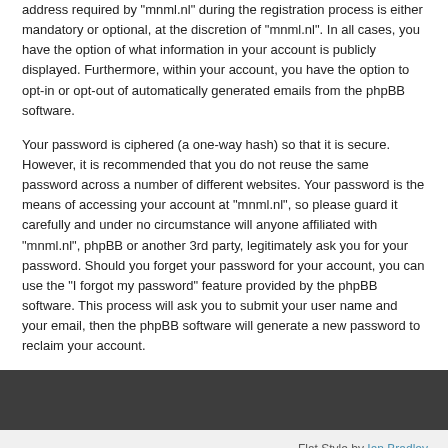address required by "mnml.nl" during the registration process is either mandatory or optional, at the discretion of "mnml.nl". In all cases, you have the option of what information in your account is publicly displayed. Furthermore, within your account, you have the option to opt-in or opt-out of automatically generated emails from the phpBB software.
Your password is ciphered (a one-way hash) so that it is secure. However, it is recommended that you do not reuse the same password across a number of different websites. Your password is the means of accessing your account at "mnml.nl", so please guard it carefully and under no circumstance will anyone affiliated with "mnml.nl", phpBB or another 3rd party, legitimately ask you for your password. Should you forget your password for your account, you can use the "I forgot my password" feature provided by the phpBB software. This process will ask you to submit your user name and your email, then the phpBB software will generate a new password to reclaim your account.
Flat Style by Ian Bradley
Powered by phpBB® Forum Software © phpBB Limited
Privacy | Terms